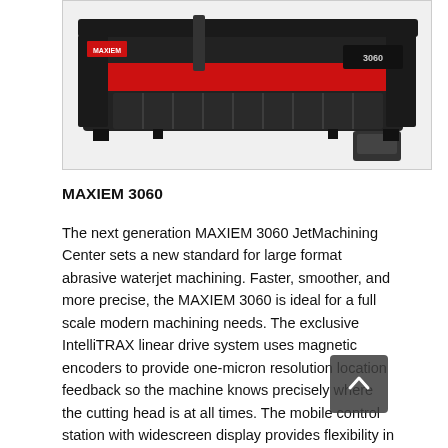[Figure (photo): Product photo of MAXIEM 3060 JetMachining Center — a large red and black waterjet cutting machine shown from an elevated angle, with '3060' branding visible on the side. Image is partially cropped, showing the top portion of the machine.]
MAXIEM 3060
The next generation MAXIEM 3060 JetMachining Center sets a new standard for large format abrasive waterjet machining. Faster, smoother, and more precise, the MAXIEM 3060 is ideal for a full scale modern machining needs. The exclusive IntelliTRAX linear drive system uses magnetic encoders to provide one-micron resolution location feedback so the machine knows precisely where the cutting head is at all times. The mobile control station with widescreen display provides flexibility in controller positioning. Optional accessories such as the A-Jet for 5-axis cutting and taper compensation and Collision Sensing Terrain Follower for accurate machining of warped materials expand your JetMachining capabilities and dramatically improve